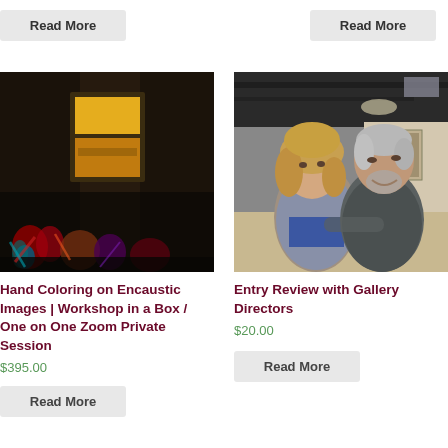Read More
Read More
[Figure (photo): Dark moody artwork showing a glowing yellow window in a dark room with colorful abstract figures below]
Hand Coloring on Encaustic Images | Workshop in a Box / One on One Zoom Private Session
$395.00
Read More
[Figure (photo): Photo of two smiling people, a woman with blonde hair and a man with gray hair and beard, standing in an art gallery]
Entry Review with Gallery Directors
$20.00
Read More